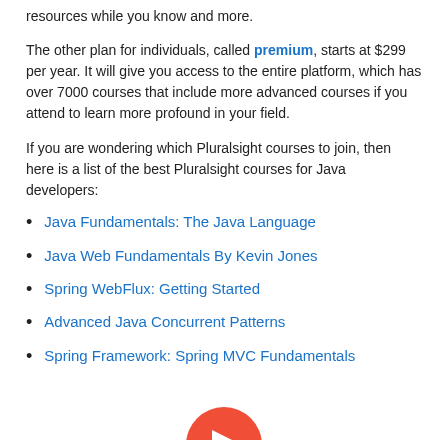resources while you know and more.
The other plan for individuals, called premium, starts at $299 per year. It will give you access to the entire platform, which has over 7000 courses that include more advanced courses if you attend to learn more profound in your field.
If you are wondering which Pluralsight courses to join, then here is a list of the best Pluralsight courses for Java developers:
Java Fundamentals: The Java Language
Java Web Fundamentals By Kevin Jones
Spring WebFlux: Getting Started
Advanced Java Concurrent Patterns
Spring Framework: Spring MVC Fundamentals
[Figure (logo): Pluralsight logo — red circle with white arrow icon, partially visible at bottom center of page]